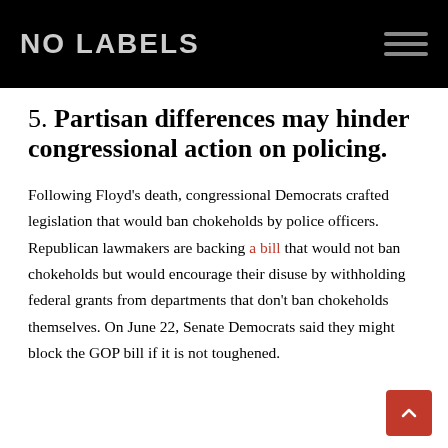NO LABELS
5. Partisan differences may hinder congressional action on policing.
Following Floyd's death, congressional Democrats crafted legislation that would ban chokeholds by police officers. Republican lawmakers are backing a bill that would not ban chokeholds but would encourage their disuse by withholding federal grants from departments that don't ban chokeholds themselves. On June 22, Senate Democrats said they might block the GOP bill if it is not toughened.